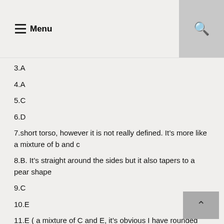Menu
3.A
4.A
5.C
6.D
7.short torso, however it is not really defined. It's more like a mixture of b and c
8.B. It's straight around the sides but it also tapers to a pear shape
9.C
10.E
11.E ( a mixture of C and E, it's obvious I have rounded cheekbones however they are not super prominent but they aren't invisible either
12.B
13.A